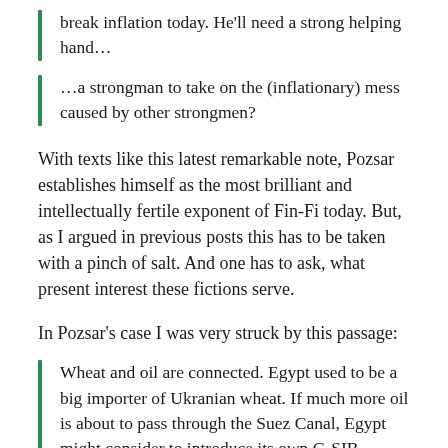break inflation today. He'll need a strong helping hand...
…a strongman to take on the (inflationary) mess caused by other strongmen?
With texts like this latest remarkable note, Pozsar establishes himself as the most brilliant and intellectually fertile exponent of Fin-Fi today. But, as I argued in previous posts this has to be taken with a pinch of salt. And one has to ask, what present interest these fictions serve.
In Pozsar's case I was very struck by this passage:
Wheat and oil are connected. Egypt used to be a big importer of Ukranian wheat. If much more oil is about to pass through the Suez Canal, Egypt might consider to introduce its own G-SIB surcharge: